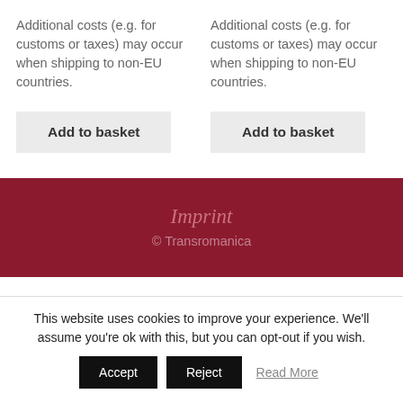Additional costs (e.g. for customs or taxes) may occur when shipping to non-EU countries.
Additional costs (e.g. for customs or taxes) may occur when shipping to non-EU countries.
Add to basket
Add to basket
Imprint
© Transromanica
This website uses cookies to improve your experience. We'll assume you're ok with this, but you can opt-out if you wish.
Accept
Reject
Read More